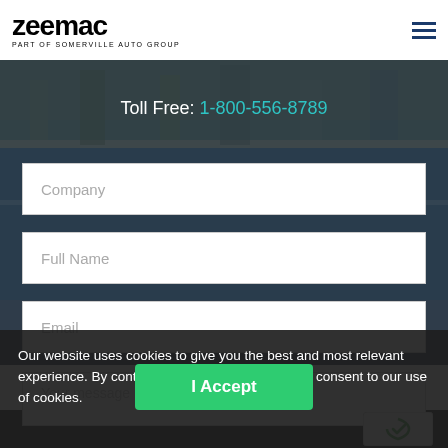[Figure (logo): Zeemac logo with text 'PART OF SOMERVILLE AUTO GROUP' underneath]
[Figure (illustration): Hamburger menu icon with three horizontal dark navy lines]
[Figure (photo): Aerial view of a city with port/marina, dark overlay background]
Toll Free: 1-800-556-8789
Company
Full Name
Email
Our website uses cookies to give you the best and most relevant experience. By continuing to access this site, you consent to our use of cookies.
I Accept